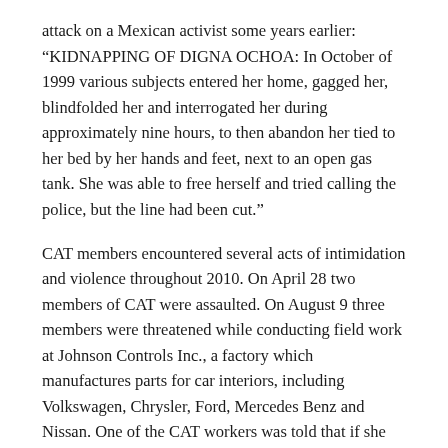attack on a Mexican activist some years earlier: “KIDNAPPING OF DIGNA OCHOA: In October of 1999 various subjects entered her home, gagged her, blindfolded her and interrogated her during approximately nine hours, to then abandon her tied to her bed by her hands and feet, next to an open gas tank. She was able to free herself and tried calling the police, but the line had been cut.”
CAT members encountered several acts of intimidation and violence throughout 2010. On April 28 two members of CAT were assaulted. On August 9 three members were threatened while conducting field work at Johnson Controls Inc., a factory which manufactures parts for car interiors, including Volkswagen, Chrysler, Ford, Mercedes Benz and Nissan. One of the CAT workers was told that if she continued to interfere with CROM (a federation widely acknowledged to function as a “protection contact” at the factory) she would have to face the consequences.
Maquila Solidarity Network is calling for your support. They have prepared an urgent action asking the Mexican authorities to prevent further attacks on CAT and its members.